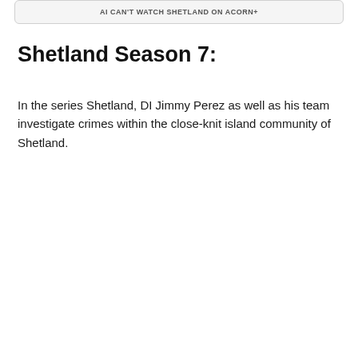AI Can't Watch Shetland on Acorn+
Shetland Season 7:
In the series Shetland, DI Jimmy Perez as well as his team investigate crimes within the close-knit island community of Shetland.